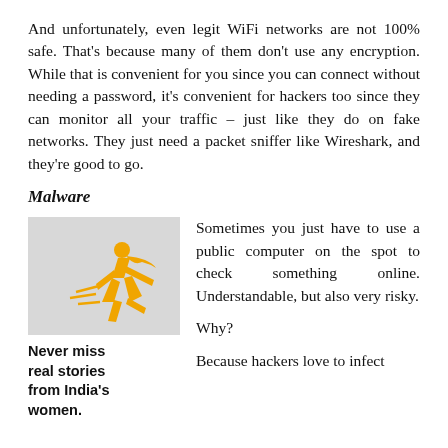And unfortunately, even legit WiFi networks are not 100% safe. That's because many of them don't use any encryption. While that is convenient for you since you can connect without needing a password, it's convenient for hackers too since they can monitor all your traffic – just like they do on fake networks. They just need a packet sniffer like Wireshark, and they're good to go.
Malware
[Figure (illustration): Orange/yellow illustration of a woman running or leaping, on a grey background]
Never miss real stories from India's women.
Sometimes you just have to use a public computer on the spot to check something online. Understandable, but also very risky.
Why?
Because hackers love to infect